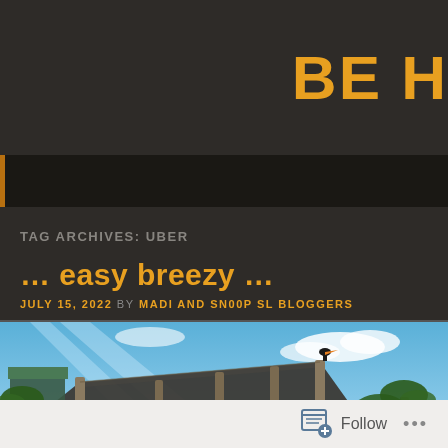BE H
TAG ARCHIVES: UBER
… easy breezy …
JULY 15, 2022 BY MADI AND SN00P SL BLOGGERS
[Figure (photo): A tropical outdoor scene in a virtual world (Second Life) showing tall wooden poles supporting a large dark fabric shade sail canopy, surrounded by palm trees and lush tropical vegetation, a bird perched on a pole, blue sky with clouds and light rays in the background.]
Follow ...